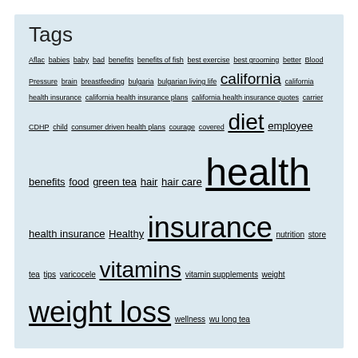Tags
Aflac babies baby bad benefits benefits of fish best exercise best grooming better Blood Pressure brain breastfeeding bulgaria bulgarian living life california california health insurance california health insurance plans california health insurance quotes carrier CDHP child consumer driven health plans courage covered diet employee benefits food green tea hair hair care health health insurance Healthy insurance nutrition store tea tips varicocele vitamins vitamin supplements weight weight loss wellness wu long tea
Categories
Addiction
Baby Health